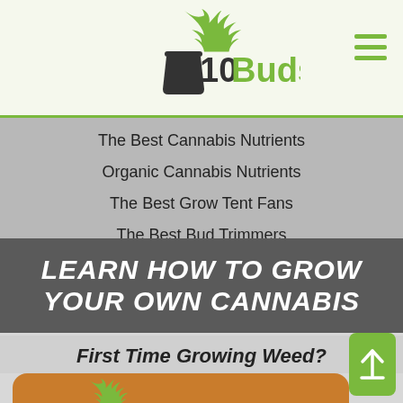[Figure (logo): 10Buds logo with cannabis leaf above a pot icon, green and black text on light green background]
The Best Cannabis Nutrients
Organic Cannabis Nutrients
The Best Grow Tent Fans
The Best Bud Trimmers
LEARN HOW TO GROW YOUR OWN CANNABIS
First Time Growing Weed?
[Figure (logo): 10Buds logo on orange rounded-corner card, cannabis leaf and pot icon, dark and green text]